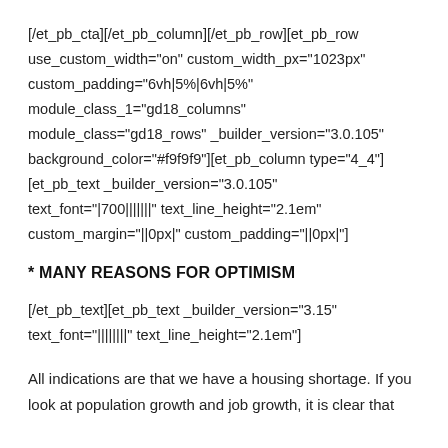[/et_pb_cta][/et_pb_column][/et_pb_row][et_pb_row use_custom_width="on" custom_width_px="1023px" custom_padding="6vh|5%|6vh|5%" module_class_1="gd18_columns" module_class="gd18_rows" _builder_version="3.0.105" background_color="#f9f9f9"][et_pb_column type="4_4"] [et_pb_text _builder_version="3.0.105" text_font="|700|||||||" text_line_height="2.1em" custom_margin="||0px|" custom_padding="||0px|"]
* MANY REASONS FOR OPTIMISM
[/et_pb_text][et_pb_text _builder_version="3.15" text_font="||||||||" text_line_height="2.1em"]
All indications are that we have a housing shortage. If you look at population growth and job growth, it is clear that